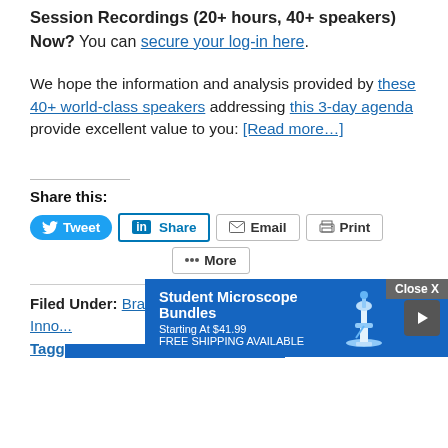SharpBrains Summit but want to access all Session Recordings (20+ hours, 40+ speakers) Now? You can secure your log-in here.
We hope the information and analysis provided by these 40+ world-class speakers addressing this 3-day agenda provide excellent value to you: [Read more…]
Share this:
[Figure (infographic): Social sharing buttons: Tweet, Share (LinkedIn), Email, Print, More]
Filed Under: Brain/ Mental Health, Technology & Innovation
Tagged
[Figure (infographic): Advertisement overlay: Student Microscope Bundles, Starting At $41.99, FREE SHIPPING AVAILABLE. Close X button visible.]